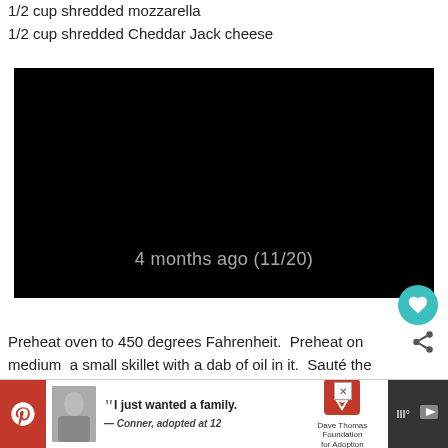1/2 cup shredded mozzarella
1/2 cup shredded Cheddar Jack cheese
[Figure (screenshot): Black video player thumbnail showing timestamp '4 months ago (11/20)']
Preheat oven to 450 degrees Fahrenheit.  Preheat on medium a small skillet with a dab of oil in it.  Sauté the broccoli until bright
[Figure (infographic): Advertisement banner: 'I just wanted a family. — Conner, adopted at 12' with Dave Thomas Foundation for Adoption logo]